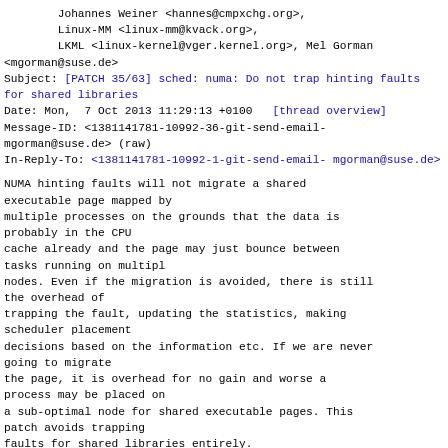Johannes Weiner <hannes@cmpxchg.org>,
        Linux-MM <linux-mm@kvack.org>,
        LKML <linux-kernel@vger.kernel.org>, Mel Gorman <mgorman@suse.de>
Subject: [PATCH 35/63] sched: numa: Do not trap hinting faults for shared libraries
Date: Mon,  7 Oct 2013 11:29:13 +0100   [thread overview]
Message-ID: <1381141781-10992-36-git-send-email-mgorman@suse.de> (raw)
In-Reply-To: <1381141781-10992-1-git-send-email-mgorman@suse.de>
NUMA hinting faults will not migrate a shared executable page mapped by multiple processes on the grounds that the data is probably in the CPU cache already and the page may just bounce between tasks running on multipl nodes. Even if the migration is avoided, there is still the overhead of trapping the fault, updating the statistics, making scheduler placement decisions based on the information etc. If we are never going to migrate the page, it is overhead for no gain and worse a process may be placed on a sub-optimal node for shared executable pages. This patch avoids trapping faults for shared libraries entirely.